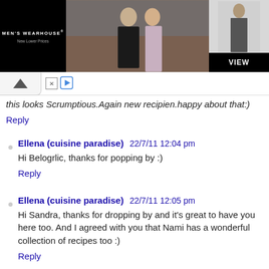[Figure (photo): Men's Wearhouse advertisement banner showing a couple in formal wear and a man in a suit, with a VIEW button]
this looks Scrumptious.Again new recipien.happy about that:)
Reply
Ellena (cuisine paradise) 22/7/11 12:04 pm
Hi Belogrlic, thanks for popping by :)
Reply
Ellena (cuisine paradise) 22/7/11 12:05 pm
Hi Sandra, thanks for dropping by and it's great to have you here too. And I agreed with you that Nami has a wonderful collection of recipes too :)
Reply